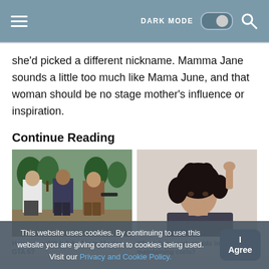DARK MODE [toggle] [search]
she'd picked a different nickname. Mamma Jane sounds a little too much like Mama June, and that woman should be no stage mother's influence or inspiration.
Continue Reading
[Figure (photo): GTA 5 characters promotional art, three men standing with weapons outdoors]
[Figure (photo): Young woman with curly dark hair holding her hair up]
How Long Will It Take Me to Master GTA 5?
Which hair product aids in maintaining curls?
This website uses cookies. By continuing to use this website you are giving consent to cookies being used. Visit our Privacy and Cookie Policy. I Agree